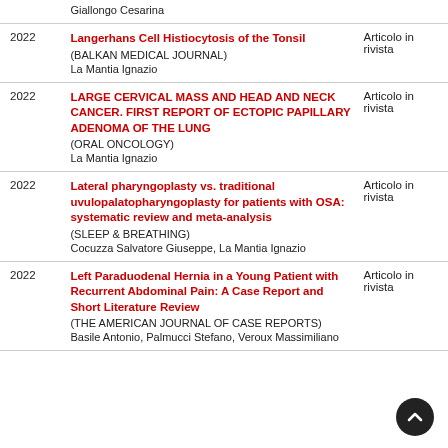| Year | Title / Journal / Authors | Type |
| --- | --- | --- |
|  | Giallongo Cesarina |  |
| 2022 | Langerhans Cell Histiocytosis of the Tonsil
(BALKAN MEDICAL JOURNAL)
La Mantia Ignazio | Articolo in rivista |
| 2022 | LARGE CERVICAL MASS AND HEAD AND NECK CANCER. FIRST REPORT OF ECTOPIC PAPILLARY ADENOMA OF THE LUNG
(ORAL ONCOLOGY)
La Mantia Ignazio | Articolo in rivista |
| 2022 | Lateral pharyngoplasty vs. traditional uvulopalatopharyngoplasty for patients with OSA: systematic review and meta-analysis
(SLEEP & BREATHING)
Cocuzza Salvatore Giuseppe, La Mantia Ignazio | Articolo in rivista |
| 2022 | Left Paraduodenal Hernia in a Young Patient with Recurrent Abdominal Pain: A Case Report and Short Literature Review
(THE AMERICAN JOURNAL OF CASE REPORTS)
Basile Antonio, Palmucci Stefano, Veroux Massimiliano | Articolo in rivista |